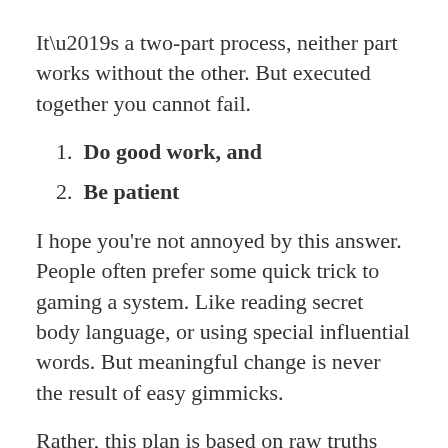It’s a two-part process, neither part works without the other. But executed together you cannot fail.
1. Do good work, and
2. Be patient
I hope you’re not annoyed by this answer. People often prefer some quick trick to gaming a system. Like reading secret body language, or using special influential words. But meaningful change is never the result of easy gimmicks.
Rather, this plan is based on raw truths and